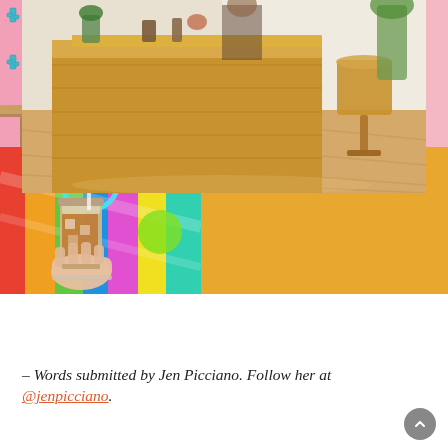[Figure (photo): Interior of a cafe with a large natural wood counter/bar, light wooden floors, plants on the counter and in the background, a worker behind the counter, and a round wood side table with plant in the background.]
[Figure (photo): Interior of a cafe with pink patterned wallpaper featuring cactus designs, a wooden bench, orange stools, and a potted plant.]
[Figure (photo): Hand holding an iced coffee drink in a clear plastic cup in front of a colorful mural with rainbow stripes and bright shapes.]
– Words submitted by Jen Picciano. Follow her at @jenpicciano.